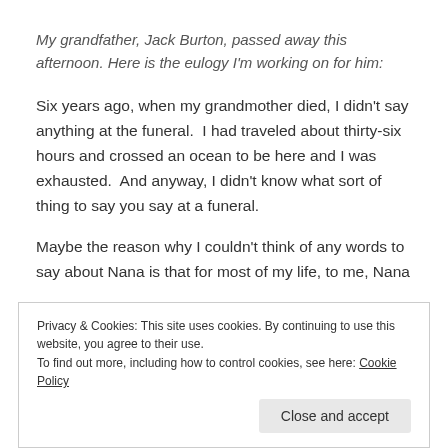My grandfather, Jack Burton, passed away this afternoon. Here is the eulogy I'm working on for him:
Six years ago, when my grandmother died, I didn't say anything at the funeral.  I had traveled about thirty-six hours and crossed an ocean to be here and I was exhausted.  And anyway, I didn't know what sort of thing to say you say at a funeral.
Maybe the reason why I couldn't think of any words to say about Nana is that for most of my life, to me, Nana
Privacy & Cookies: This site uses cookies. By continuing to use this website, you agree to their use.
To find out more, including how to control cookies, see here: Cookie Policy